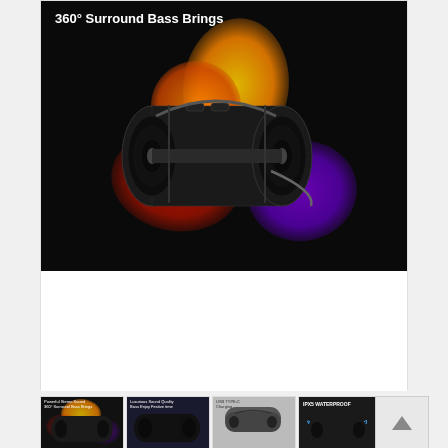[Figure (photo): Product photo of a black portable Bluetooth speaker on dark background with colorful powder splashes (yellow, orange, red, purple). Text overlay reads '360° Surround Bass Brings'.]
[Figure (photo): Thumbnail row showing 4 product images of the same Bluetooth speaker from different angles: 1) speaker with color splashes, 2) speaker with glowing LED lights, 3) speaker in grey/white background, 4) speaker with IPX5 waterproof label.]